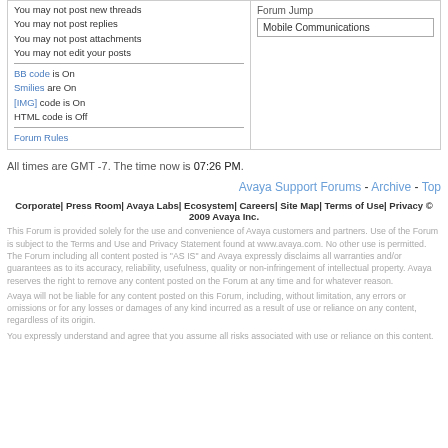You may not post new threads
You may not post replies
You may not post attachments
You may not edit your posts
BB code is On
Smilies are On
[IMG] code is On
HTML code is Off
Forum Rules
Forum Jump
Mobile Communications
All times are GMT -7. The time now is 07:26 PM.
Avaya Support Forums - Archive - Top
Corporate| Press Room| Avaya Labs| Ecosystem| Careers| Site Map| Terms of Use| Privacy © 2009 Avaya Inc.
This Forum is provided solely for the use and convenience of Avaya customers and partners. Use of the Forum is subject to the Terms and Use and Privacy Statement found at www.avaya.com. No other use is permitted. The Forum including all content posted is "AS IS" and Avaya expressly disclaims all warranties and/or guarantees as to its accuracy, reliability, usefulness, quality or non-infringement of intellectual property. Avaya reserves the right to remove any content posted on the Forum at any time and for whatever reason.
Avaya will not be liable for any content posted on this Forum, including, without limitation, any errors or omissions or for any losses or damages of any kind incurred as a result of use or reliance on any content, regardless of its origin.
You expressly understand and agree that you assume all risks associated with use or reliance on this content.